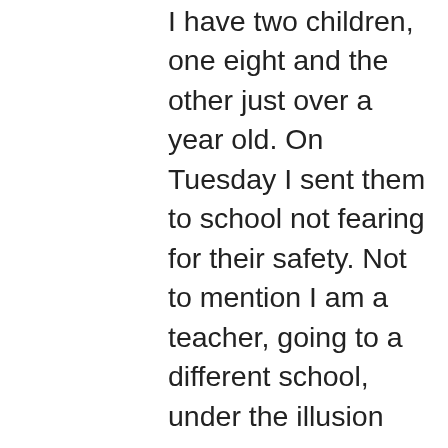I have two children, one eight and the other just over a year old. On Tuesday I sent them to school not fearing for their safety. Not to mention I am a teacher, going to a different school, under the illusion that I too was safe. My kids came home yesterday, there are parents in Texas who cannot say the same thing. I came home to my family after teaching my students. There are two teachers in Texas who did not come home from their schools. The word 'anguish' kept swirling in my mind, an all-to perfect descriptor for what those parents and loved ones must be feeling in a tragedy that is all too common in the US.